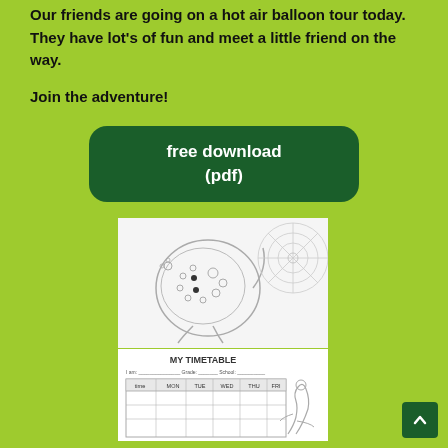Our friends are going on a hot air balloon tour today. They have lot's of fun and meet a little friend on the way.
Join the adventure!
free download (pdf)
[Figure (illustration): A coloring page preview showing a cute gecko/lizard character with circular decorative patterns and a mandala-style design in the upper right corner]
[Figure (illustration): A timetable worksheet preview titled MY TIMETABLE with columns for Time, MON, TUE, WED, THU, FRI and a gecko illustration on the right side]